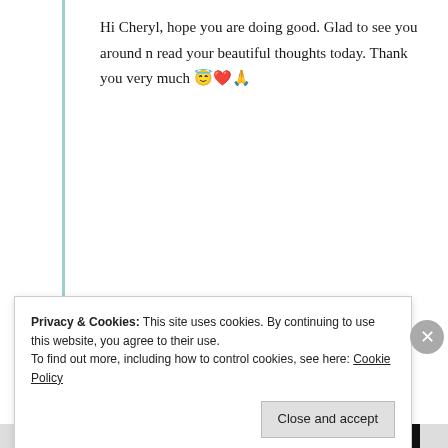Hi Cheryl, hope you are doing good. Glad to see you around n read your beautiful thoughts today. Thank you very much 😇❤️🙏
★ Liked by 1 person
Log in to Reply
Advertisements
The first rule of Startup School?
Privacy & Cookies: This site uses cookies. By continuing to use this website, you agree to their use.
To find out more, including how to control cookies, see here: Cookie Policy
Close and accept